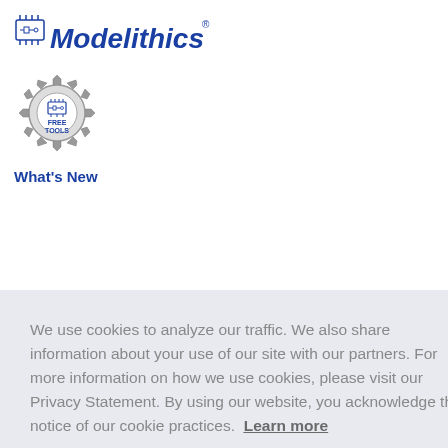[Figure (logo): Modelithics logo with circuit icon and bold italic text]
[Figure (logo): Free Tools gear badge with circuit icon]
What's New
We use cookies to analyze our traffic. We also share information about your use of our site with our partners. For more information on how we use cookies, please visit our Privacy Statement. By using our website, you acknowledge this notice of our cookie practices.  Learn more
Decline
Allow cookies